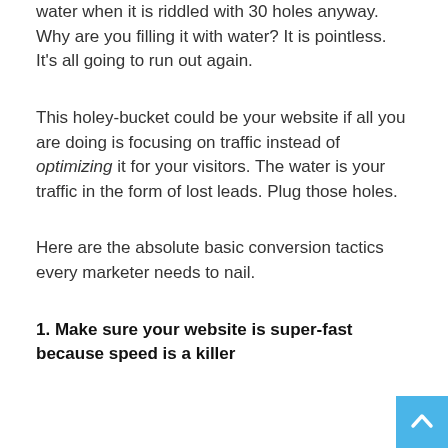water when it is riddled with 30 holes anyway. Why are you filling it with water? It is pointless. It's all going to run out again.
This holey-bucket could be your website if all you are doing is focusing on traffic instead of optimizing it for your visitors. The water is your traffic in the form of lost leads. Plug those holes.
Here are the absolute basic conversion tactics every marketer needs to nail.
1. Make sure your website is super-fast because speed is a killer